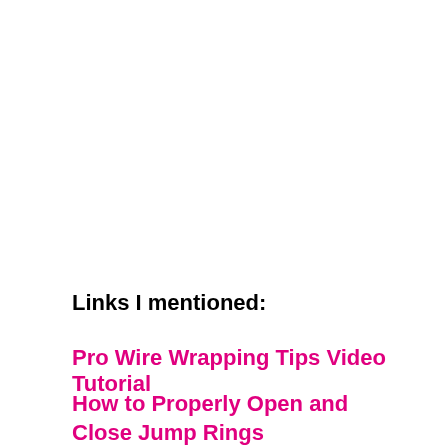Links I mentioned:
Pro Wire Wrapping Tips Video Tutorial
How to Properly Open and Close Jump Rings